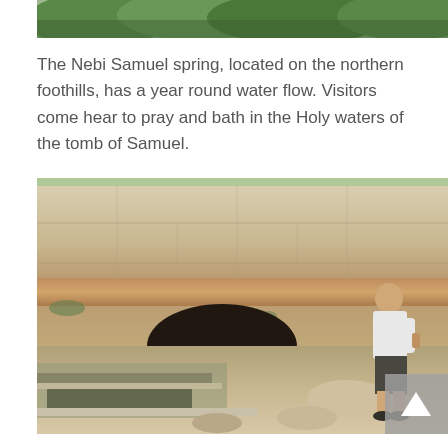[Figure (photo): Partial view of green foliage/trees, cropped at top of page]
The Nebi Samuel spring, located on the northern foothills, has a year round water flow. Visitors come hear to pray and bath in the Holy waters of the tomb of Samuel.
[Figure (photo): A stone wall with a cave/grotto opening at its base, a pool of water in front, and a person in a white shirt and dark shorts standing to the right, touching the wall. Ancient stonework at the Nebi Samuel spring site.]